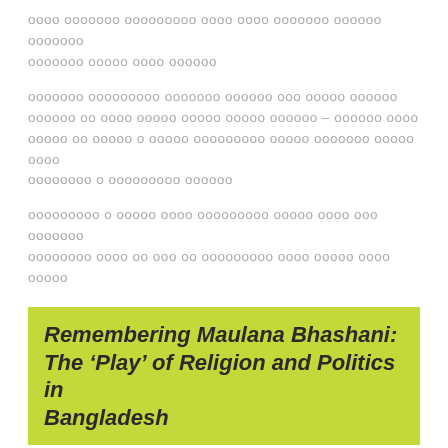[Bengali text paragraph 1]
[Bengali text paragraph 2]
[Bengali text paragraph 3]
Remembering Maulana Bhashani: The ‘Play’ of Religion and Politics in Bangladesh
Posted on April 25, 2014 by brethrenofblacklotus in 1971, 1975, Culture, History, Religion, Uncategorized, Ziaur Rahman and tagged Bangladesh, Bhashani, Featured, politics, Slide.